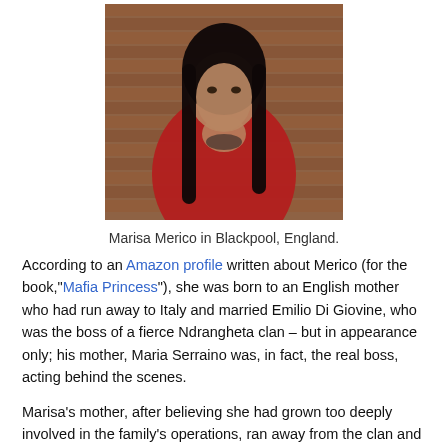[Figure (photo): A woman with long dark hair wearing a red top and a scarf/necklace, standing against a brick wall. Photo of Marisa Merico in Blackpool, England.]
Marisa Merico in Blackpool, England.
According to an Amazon profile written about Merico (for the book,"Mafia Princess"), she was born to an English mother who had run away to Italy and married Emilio Di Giovine, who was the boss of a fierce Ndrangheta clan – but in appearance only; his mother, Maria Serraino was, in fact, the real boss, acting behind the scenes.
Marisa's mother, after believing she had grown too deeply involved in the family's operations, ran away from the clan and returned home to Blackpool with her daughter. Marisa's father